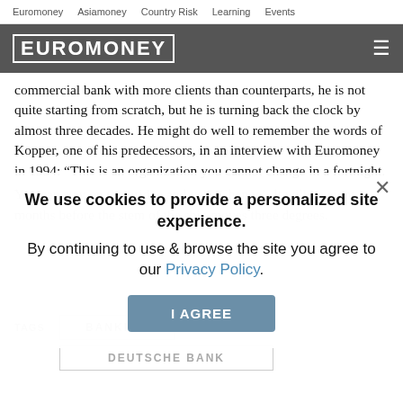Euromoney   Asiamoney   Country Risk   Learning   Events
EUROMONEY
commercial bank with more clients than counterparts, he is not quite starting from scratch, but he is turning back the clock by almost three decades. He might do well to remember the words of Kopper, one of his predecessors, in an interview with Euromoney in 1994: “This is an organization you cannot change in a fortnight.
You can stay on the bridge and yell ‘Change’. It will be eight months before the stem of the ship moves three degrees.
We use cookies to provide a personalized site experience.
By continuing to use & browse the site you agree to our Privacy Policy.
I AGREE
TAGS   BANKING
DEUTSCHE BANK